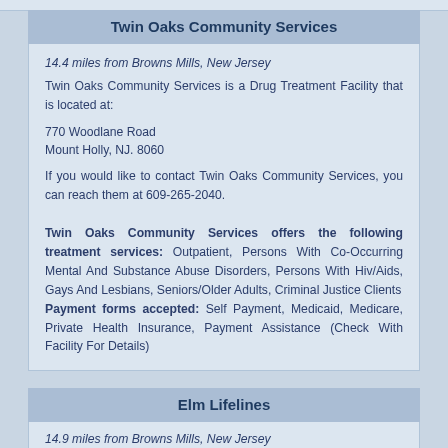Twin Oaks Community Services
14.4 miles from Browns Mills, New Jersey
Twin Oaks Community Services is a Drug Treatment Facility that is located at:

770 Woodlane Road
Mount Holly, NJ. 8060

If you would like to contact Twin Oaks Community Services, you can reach them at 609-265-2040.

Twin Oaks Community Services offers the following treatment services: Outpatient, Persons With Co-Occurring Mental And Substance Abuse Disorders, Persons With Hiv/Aids, Gays And Lesbians, Seniors/Older Adults, Criminal Justice Clients
Payment forms accepted: Self Payment, Medicaid, Medicare, Private Health Insurance, Payment Assistance (Check With Facility For Details)
Elm Lifelines
14.9 miles from Browns Mills, New Jersey